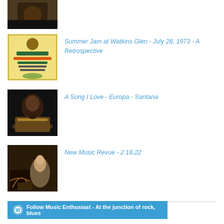[Figure (photo): Partial top thumbnail image, dark tones, cut off at top of page]
[Figure (illustration): Concert poster thumbnail for Summer Jam at Watkins Glen]
Summer Jam at Watkins Glen - July 28, 1973 - A Retrospective
[Figure (photo): Musician playing guitar on dark background - Santana]
A Song I Love - Europa - Santana
[Figure (photo): Dog listening to gramophone - HMV style image]
New Music Revue - 2.16.22
Follow Music Enthusiast - At the junction of rock, blues